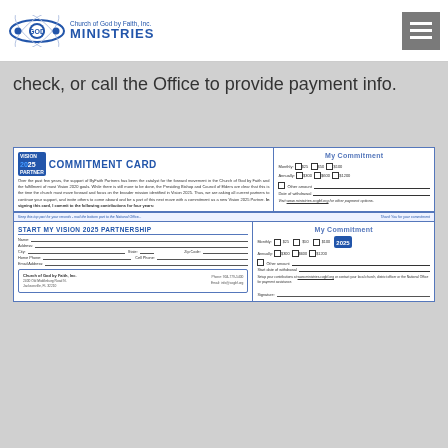Church of God by Faith, Inc. MINISTRIES
check, or call the Office to provide payment info.
[Figure (other): Vision 2025 Commitment Card and Partnership form from Church of God by Faith, Inc. Ministries. Top section is a Commitment Card with body text about ByFaith Partners and Vision 2025, with checkboxes for Monthly ($25, $50, $100) and Annually ($300, $600, $1200) commitments, Other amount field, Date of withdrawal, and website reference. Bottom section is a Start My Vision 2025 Partnership form with fields for Name, Address, City, State, Zip Code, Home Phone, Cell Phone, Email Address, church contact info box, and a My Commitment panel with same checkbox options, Start date of withdrawal, instructions, and Signature line.]